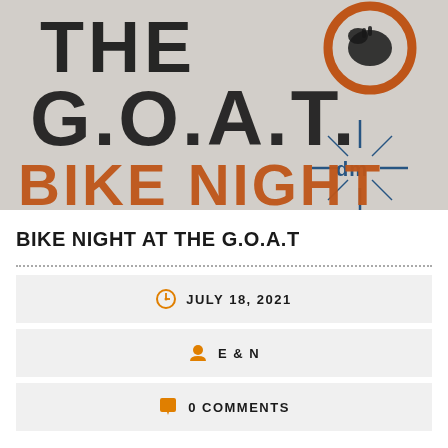[Figure (illustration): Promotional image for 'The G.O.A.T. Bike Night' event. Shows large bold distressed text 'THE G.O.A.T.' in black on white/grey textured background, with an orange circle logo containing a goat silhouette, a small blue compass/star logo, and orange text reading 'BIKE NIGHT' at the bottom.]
BIKE NIGHT AT THE G.O.A.T
JULY 18, 2021
E & N
0 COMMENTS